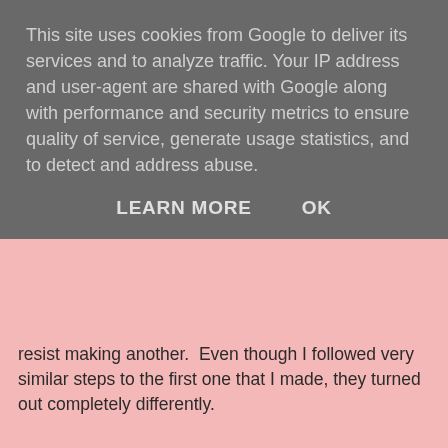resist making another.  Even though I followed very similar steps to the first one that I made, they turned out completely differently.
[Figure (photo): A decorative mixed-media tag/card with orange and red textured background, Japanese or Asian-style calligraphy stamps, small label strips reading 'A memory to hold' and 'taken from the past', circular embellishments, and number strips along the left side.]
This site uses cookies from Google to deliver its services and to analyze traffic. Your IP address and user-agent are shared with Google along with performance and security metrics to ensure quality of service, generate usage statistics, and to detect and address abuse.
LEARN MORE    OK